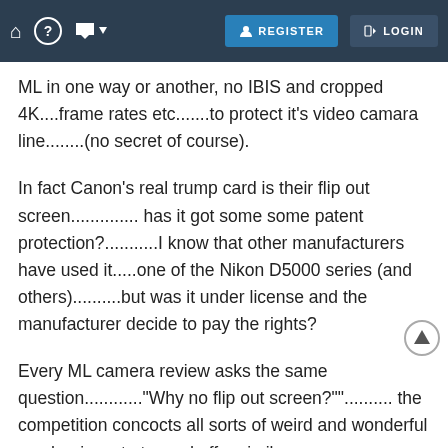🏠  ?  💬 ▾  REGISTER  LOGIN
ML in one way or another, no IBIS and cropped 4K....frame rates etc.......to protect it's video camara line........(no secret of course).
In fact Canon's real trump card is their flip out screen.............. has it got some some patent protection?...........I know that other manufacturers have used it.....one of the Nikon D5000 series (and others)..........but was it under license and the manufacturer decide to pay the rights?
Every ML camera review asks the same question............"Why no flip out screen?".......... the competition concocts all sorts of weird and wonderful mechanisms to try and offer similar articulations.......Pentax moon landing module style......the Sony's A6400 flip up and over.......Nikon's flip up and down